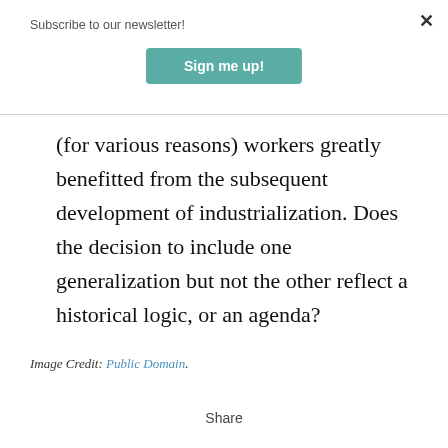Subscribe to our newsletter!
(for various reasons) workers greatly benefitted from the subsequent development of industrialization. Does the decision to include one generalization but not the other reflect a historical logic, or an agenda?
Image Credit: Public Domain.
Share